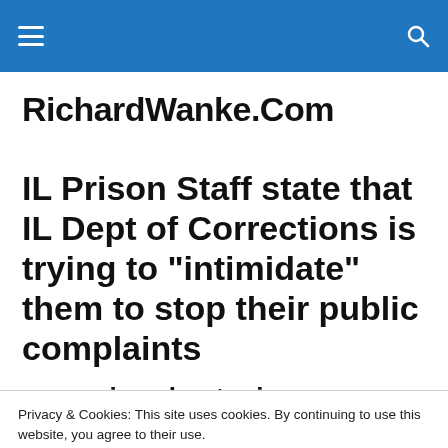RichardWanke.Com — site navigation header with hamburger menu and search icon
RichardWanke.Com
IL Prison Staff state that IL Dept of Corrections is trying to “intimdate” them to stop their public complaints
Privacy & Cookies: This site uses cookies. By continuing to use this website, you agree to their use.
To find out more, including how to control cookies, see here: Cookie Policy
Close and accept
are saying about prison overcrowding and other